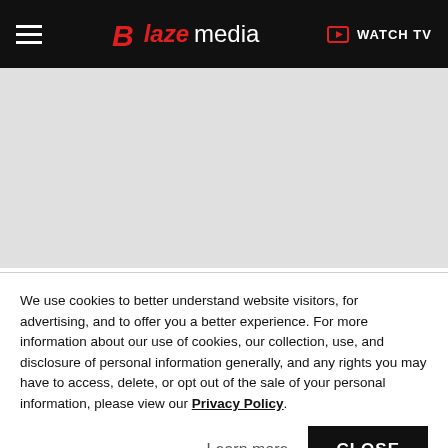Blaze Media — WATCH TV
[Figure (other): Gray advertisement/banner placeholder area]
Blaze Media / Personality / Dave Rubin
'When the mob comes for them, it's going to be the leftist liberals FINALLY make
We use cookies to better understand website visitors, for advertising, and to offer you a better experience. For more information about our use of cookies, our collection, use, and disclosure of personal information generally, and any rights you may have to access, delete, or opt out of the sale of your personal information, please view our Privacy Policy.
Learn more  CLOSE